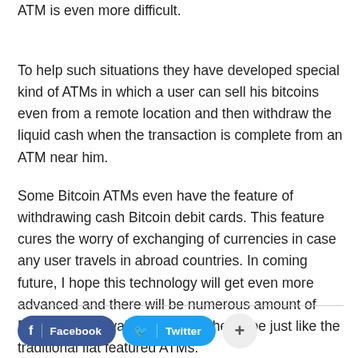ATM is even more difficult.
To help such situations they have developed special kind of ATMs in which a user can sell his bitcoins even from a remote location and then withdraw the liquid cash when the transaction is complete from an ATM near him.
Some Bitcoin ATMs even have the feature of withdrawing cash Bitcoin debit cards. This feature cures the worry of exchanging of currencies in case any user travels in abroad countries. In coming future, I hope this technology will get even more advanced and there will be numerous amount of Bitcoin ATMs available around the globe just like the traditional fiat featured ATMs.
Facebook  Twitter  +